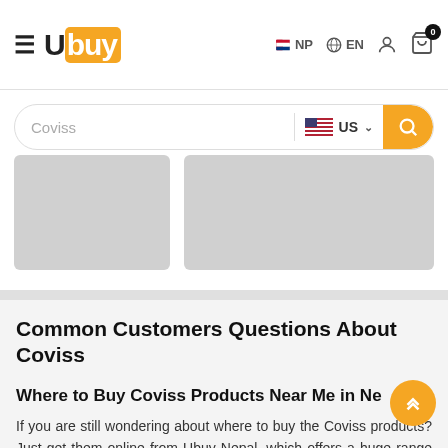Ubuy NP EN [user icon] [cart icon 0]
Coviss | US [search]
[Figure (other): Two gray placeholder product image boxes]
Common Customers Questions About Coviss
Where to Buy Coviss Products Near Me in Ne…?
If you are still wondering about where to buy the Coviss products? Just get them online from Ubuy Nepal, which offers a huge range of Coviss products at discount prices in Nepal.